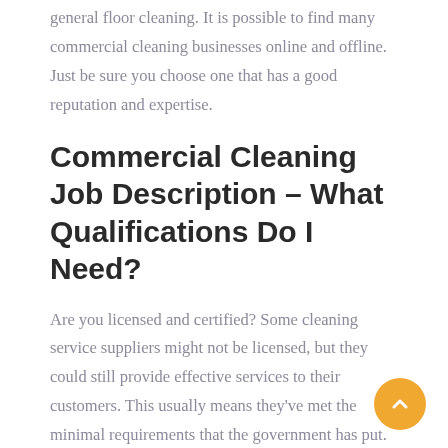general floor cleaning. It is possible to find many commercial cleaning businesses online and offline. Just be sure you choose one that has a good reputation and expertise.
Commercial Cleaning Job Description – What Qualifications Do I Need?
Are you licensed and certified? Some cleaning service suppliers might not be licensed, but they could still provide effective services to their customers. This usually means they've met the minimal requirements that the government has put. This will give you an advantage over other service providers since you were accepted by the government to provide the kind of cleaning that